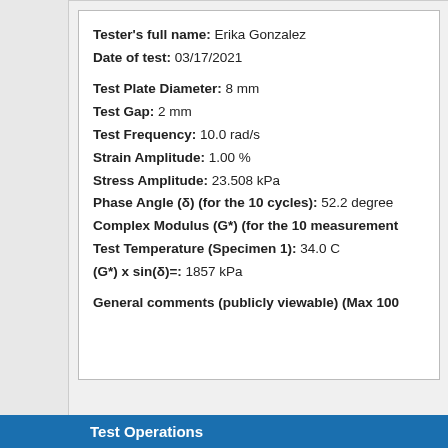Tester's full name: Erika Gonzalez
Date of test: 03/17/2021
Test Plate Diameter: 8 mm
Test Gap: 2 mm
Test Frequency: 10.0 rad/s
Strain Amplitude: 1.00 %
Stress Amplitude: 23.508 kPa
Phase Angle (δ) (for the 10 cycles): 52.2 degrees
Complex Modulus (G*) (for the 10 measurements):
Test Temperature (Specimen 1): 34.0 C
(G*) x sin(δ)=: 1857 kPa
General comments (publicly viewable) (Max 100
Test Operations